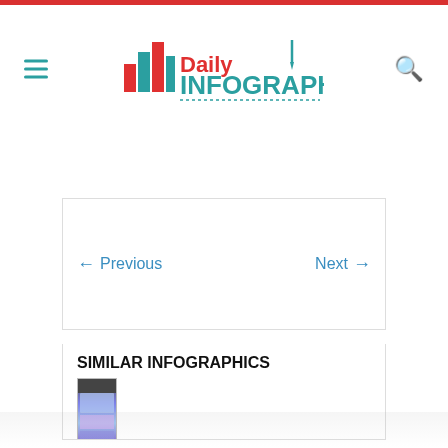Daily Infographic
← Previous    Next →
SIMILAR INFOGRAPHICS
[Figure (screenshot): Thumbnail of a similar infographic showing a tall vertical infographic with purple and blue sections]